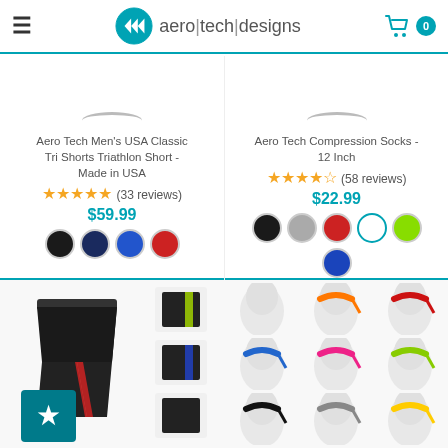aero tech designs
[Figure (screenshot): Aero Tech Men's USA Classic Tri Shorts product card with 5 stars (33 reviews), $59.99, color swatches black/navy/blue/red]
[Figure (screenshot): Aero Tech Compression Socks 12 Inch product card with 4.5 stars (58 reviews), $22.99, color swatches black/gray/red/white/lime/blue]
[Figure (photo): Black cycling/triathlon shorts with red stripe, shown with small thumbnail variants]
[Figure (photo): Grid of 9 mannequin heads wearing colorful sports headbands in orange, red, blue, pink, yellow-green, black, gray, yellow colors]